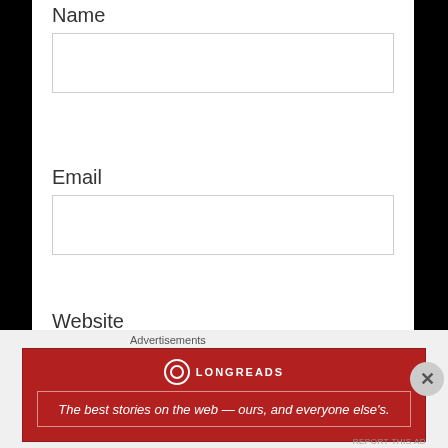Name
Email
Website
Save my name, email, and website in this browser for the next time I comment.
Advertisements
[Figure (infographic): Longreads advertisement banner with red background and tagline: The best stories on the web — ours, and everyone else's.]